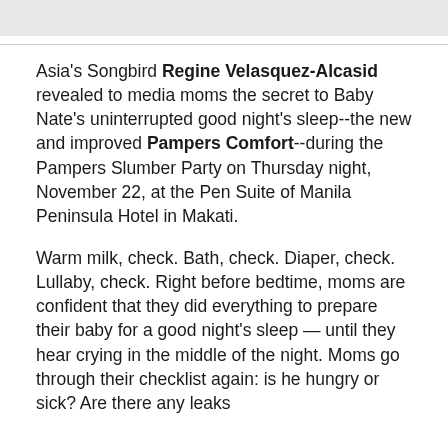[Figure (other): Gray banner/header image at top of page]
Asia's Songbird Regine Velasquez-Alcasid revealed to media moms the secret to Baby Nate's uninterrupted good night's sleep--the new and improved Pampers Comfort--during the Pampers Slumber Party on Thursday night, November 22, at the Pen Suite of Manila Peninsula Hotel in Makati.
Warm milk, check. Bath, check. Diaper, check. Lullaby, check. Right before bedtime, moms are confident that they did everything to prepare their baby for a good night's sleep — until they hear crying in the middle of the night. Moms go through their checklist again: is he hungry or sick? Are there any leaks...